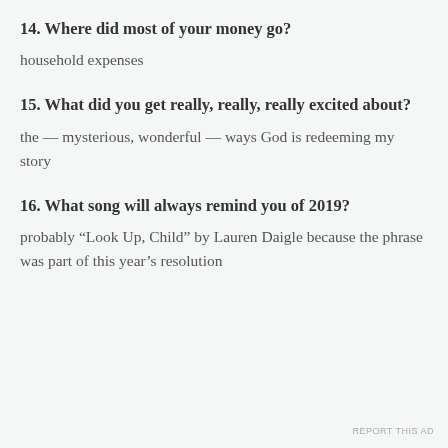14. Where did most of your money go?
household expenses
15. What did you get really, really, really excited about?
the — mysterious, wonderful — ways God is redeeming my story
16. What song will always remind you of 2019?
probably “Look Up, Child” by Lauren Daigle because the phrase was part of this year’s resolution
Privacy & Cookies: This site uses cookies. By continuing to use this website, you agree to their use.
To find out more, including how to control cookies, see here: Cookie Policy
Close and accept